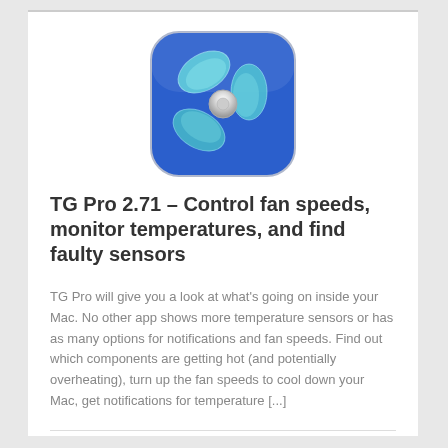[Figure (logo): TG Pro app icon — blue rounded square with a teal/cyan three-blade fan/propeller logo with metallic center hub]
TG Pro 2.71 – Control fan speeds, monitor temperatures, and find faulty sensors
TG Pro will give you a look at what's going on inside your Mac. No other app shows more temperature sensors or has as many options for notifications and fan speeds. Find out which components are getting hot (and potentially overheating), turn up the fan speeds to cool down your Mac, get notifications for temperature [...]
♥ 17   👁 1642